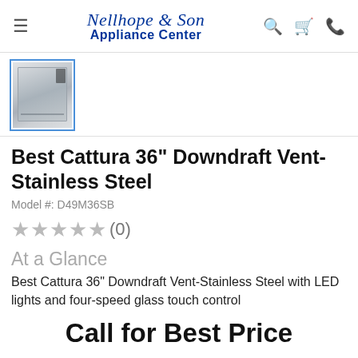Nellhope & Son Appliance Center
[Figure (photo): Thumbnail image of the Best Cattura 36" Downdraft Vent in stainless steel finish, shown in a kitchen setting]
Best Cattura 36" Downdraft Vent-Stainless Steel
Model #: D49M36SB
★★★★★ (0)
At a Glance
Best Cattura 36" Downdraft Vent-Stainless Steel with LED lights and four-speed glass touch control
Call for Best Price